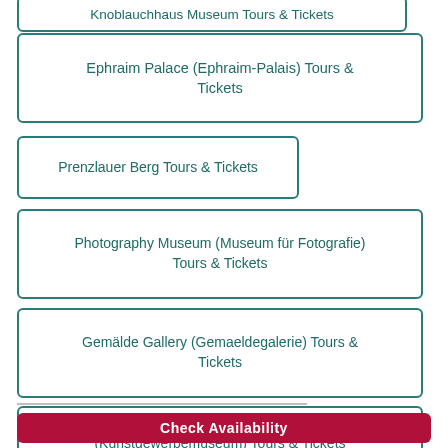Knoblauchhaus Museum Tours & Tickets
Ephraim Palace (Ephraim-Palais) Tours & Tickets
Prenzlauer Berg Tours & Tickets
Photography Museum (Museum für Fotografie) Tours & Tickets
Gemälde Gallery (Gemaeldegalerie) Tours & Tickets
Museum of Decorative Arts (Kunstgewerbemuseum) Tours & Tickets
Check Availability